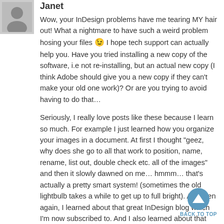Janet
Wow, your InDesign problems have me tearing MY hair out! What a nightmare to have such a weird problem hosing your files 😉 I hope tech support can actually help you. Have you tried installing a new copy of the software, i.e not re-installing, but an actual new copy (I think Adobe should give you a new copy if they can't make your old one work)? Or are you trying to avoid having to do that…
Seriously, I really love posts like these because I learn so much. For example I just learned how you organize your images in a document. At first I thought "geez, why does she go to all that work to position, name, rename, list out, double check etc. all of the images" and then it slowly dawned on me… hmmm… that's actually a pretty smart system! (sometimes the old lightbulb takes a while to get up to full bright). And then again, I learned about that great InDesign blog which I'm now subscribed to. And I also learned about that cool style sheet script, which I haven't needed yet but may need any day now.
Thanks Deb, you're an inspiration!